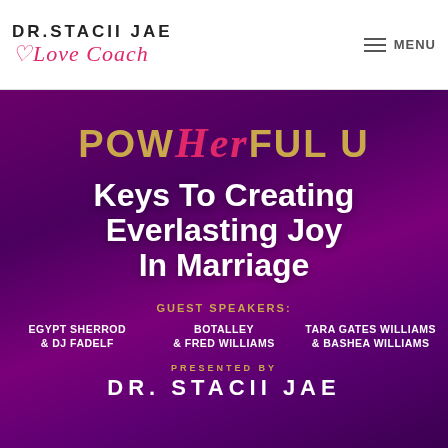DR. STACII JAE Love Coach
[Figure (infographic): Promotional banner for PowHerful U event on purple draped fabric background. Title: 'POWHerFUL U - Keys To Creating Everlasting Joy In Marriage'. Guest Speakers: Egypt Sherrod & DJ Fadelf, Botalley & Fred Williams, Tara Gates Williams & Bashea Williams. Presented by Dr. Stacii Jae.]
GUEST SPEAKERS:
EGYPT SHERROD & DJ FADELF
BOTALLEY & FRED WILLIAMS
TARA GATES WILLIAMS & BASHEA WILLIAMS
PRESENTED BY
DR. STACII JAE